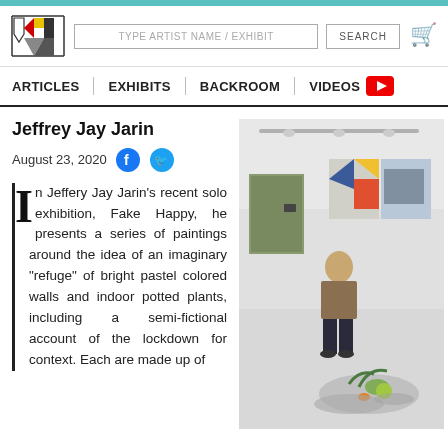TYPE ARTIST NAME / EXHIBIT | SEARCH
ARTICLES | EXHIBITS | BACKROOM | VIDEOS
Jeffrey Jay Jarin
August 23, 2020
In Jeffery Jay Jarin's recent solo exhibition, Fake Happy, he presents a series of paintings around the idea of an imaginary "refuge" of bright pastel colored walls and indoor potted plants, including a semi-fictional account of the lockdown for context. Each are made up of
[Figure (photo): Photo of artist Jeffrey Jay Jarin standing in gallery space with paintings on wall behind him and sculptural installation on floor in front.]